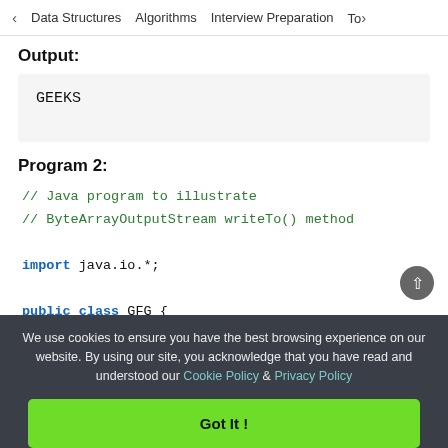< Data Structures   Algorithms   Interview Preparation   To>
Output:
GEEKS
Program 2:
// Java program to illustrate
// ByteArrayOutputStream writeTo() method

import java.io.*;

public class GFG {
    public static void main(String[] args)
        throws IOException
We use cookies to ensure you have the best browsing experience on our website. By using our site, you acknowledge that you have read and understood our Cookie Policy & Privacy Policy
Got It !